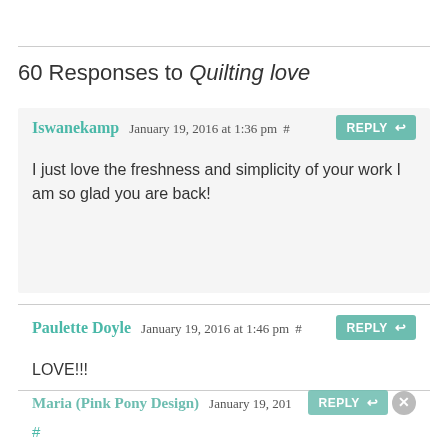60 Responses to Quilting love
Iswanekamp January 19, 2016 at 1:36 pm #
I just love the freshness and simplicity of your work I am so glad you are back!
Paulette Doyle January 19, 2016 at 1:46 pm #
LOVE!!!
Maria (Pink Pony Design) January 19, 2016 at [time] pm #